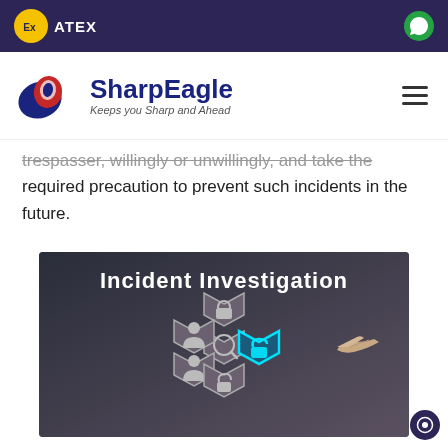ATEX
[Figure (logo): SharpEagle logo with eagle graphic and tagline 'Keeps you Sharp and Ahead']
trespasser, willingly or unwillingly, and take the required precaution to prevent such incidents in the future.
[Figure (photo): Incident Investigation image showing hexagonal icons with a person pointing to a glowing open padlock icon, with text 'Incident Investigation' at the top]